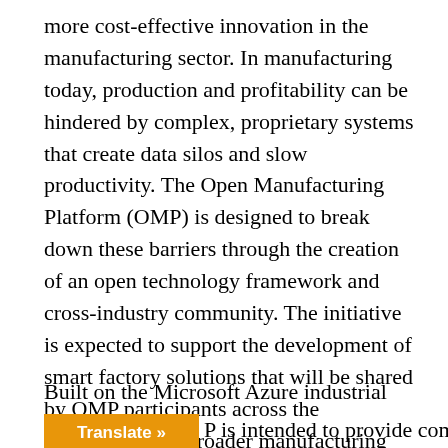more cost-effective innovation in the manufacturing sector. In manufacturing today, production and profitability can be hindered by complex, proprietary systems that create data silos and slow productivity. The Open Manufacturing Platform (OMP) is designed to break down these barriers through the creation of an open technology framework and cross-industry community. The initiative is expected to support the development of smart factory solutions that will be shared by OMP participants across the automotive and broader manufacturing sectors. The goal is to significantly accelerate future industrial IoT developments, shorten time to value and drive production efficiencies while addressing common industrial challenges.
Built on the Microsoft Azure industrial IoT cloud [P] is intended to provide community